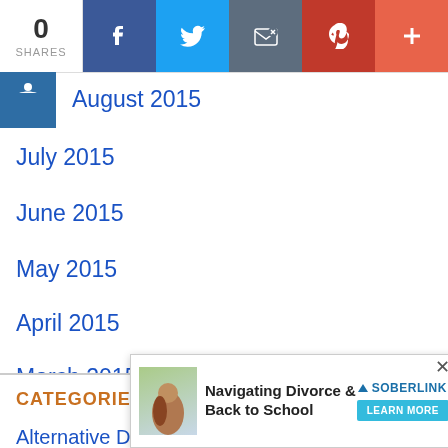[Figure (screenshot): Social sharing bar with share count (0 SHARES), Facebook, Twitter, Email, Pinterest, and Plus buttons]
August 2015
July 2015
June 2015
May 2015
April 2015
March 2015
CATEGORIES
Alternative Dispute Resolution (ADR)
Children and Divorce
Children
[Figure (screenshot): Advertisement overlay: Navigating Divorce & Back to School, Soberlink, Learn More button, with close X]